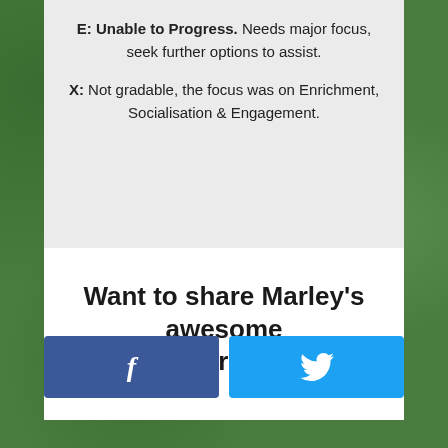E: Unable to Progress. Needs major focus, seek further options to assist.
X: Not gradable, the focus was on Enrichment, Socialisation & Engagement.
Want to share Marley's awesome progress?
[Figure (other): Facebook share button (blue) and Twitter share button (light blue) side by side]